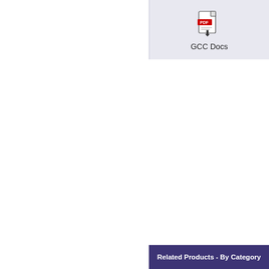[Figure (other): PDF document icon representing GCC Docs]
GCC Docs
Related Products - By Category